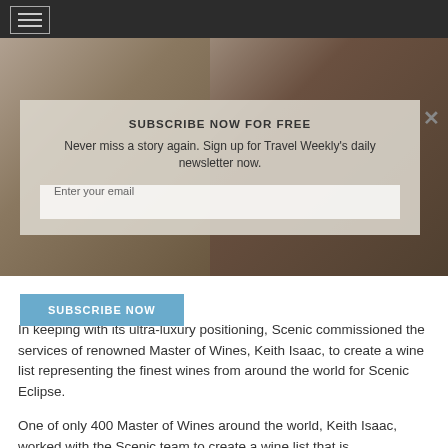[Figure (photo): A man smiling holding a glass of red wine with bottles of wine on shelves in the background]
SUBSCRIBE NOW FOR FREE
Never miss a story again. Sign up for Travel Weekly's daily newsletter now.
Enter your email
SUBSCRIBE NOW
In keeping with its ultra-luxury positioning, Scenic commissioned the services of renowned Master of Wines, Keith Isaac, to create a wine list representing the finest wines from around the world for Scenic Eclipse.
One of only 400 Master of Wines around the world, Keith Isaac, worked with the Scenic team to create a wine list that is representative of quality, that appeals to the global traveller